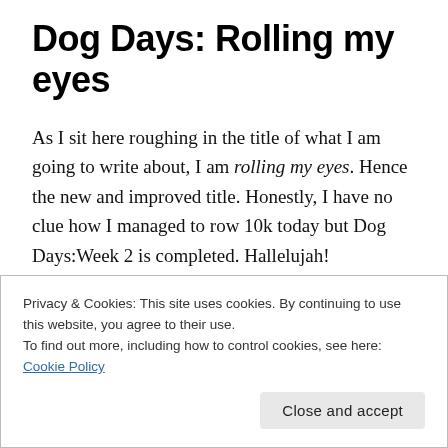Dog Days: Rolling my eyes
As I sit here roughing in the title of what I am going to write about, I am rolling my eyes. Hence the new and improved title. Honestly, I have no clue how I managed to row 10k today but Dog Days:Week 2 is completed. Hallelujah!
Today’s row was absolutely miserable. My mind
Privacy & Cookies: This site uses cookies. By continuing to use this website, you agree to their use.
To find out more, including how to control cookies, see here: Cookie Policy